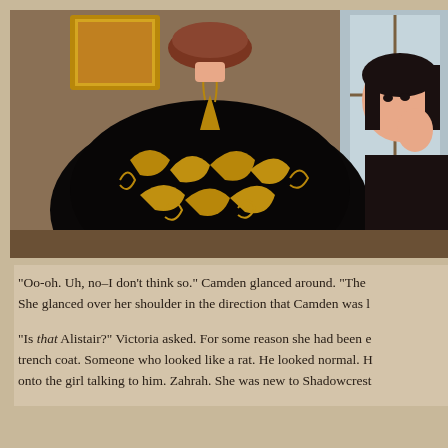[Figure (screenshot): A 3D rendered game screenshot showing two characters: one with their back turned wearing an elaborate black robe/cloak with gold baroque embroidery patterns, with reddish-brown hair visible above; and a second character on the right side with dark hair looking to the left, holding something near their face. The background shows a golden-framed painting on the wall and a window.]
“Oo-oh. Uh, no–I don’t think so.” Camden glanced around. “The She glanced over her shoulder in the direction that Camden was l
“Is that Alistair?” Victoria asked. For some reason she had been e trench coat. Someone who looked like a rat. He looked normal. H onto the girl talking to him. Zahrah. She was new to Shadowcrest